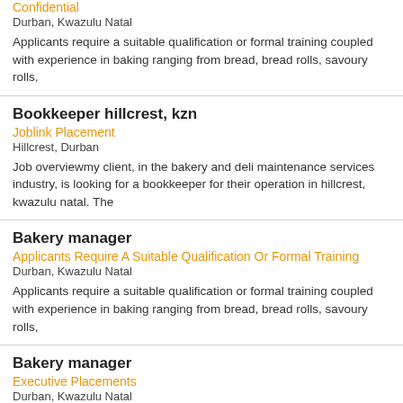Confidential
Durban, Kwazulu Natal
Applicants require a suitable qualification or formal training coupled with experience in baking ranging from bread, bread rolls, savoury rolls,
Bookkeeper hillcrest, kzn
Joblink Placement
Hillcrest, Durban
Job overviewmy client, in the bakery and deli maintenance services industry, is looking for a bookkeeper for their operation in hillcrest, kwazulu natal. The
Bakery manager
Applicants Require A Suitable Qualification Or Formal Training
Durban, Kwazulu Natal
Applicants require a suitable qualification or formal training coupled with experience in baking ranging from bread, bread rolls, savoury rolls,
Bakery manager
Executive Placements
Durban, Kwazulu Natal
Job summary: our client is looking for a bakery manager to join their team! Job description: applicants require a suitable qualification or formal training coupled